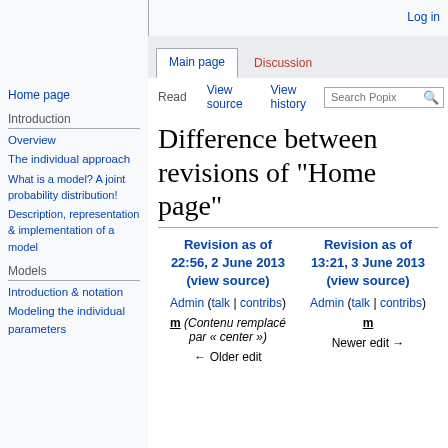Log in
Difference between revisions of "Home page"
Home page
Introduction
Overview
The individual approach
What is a model? A joint probability distribution!
Description, representation & implementation of a model
Models
Introduction & notation
Modeling the individual parameters
| Revision as of 22:56, 2 June 2013 (view source) | Revision as of 13:21, 3 June 2013 (view source) |
| --- | --- |
| Admin (talk | contribs) | Admin (talk | contribs) |
| m (Contenu remplacé par « center ») | m Newer edit → |
| ← Older edit |  |